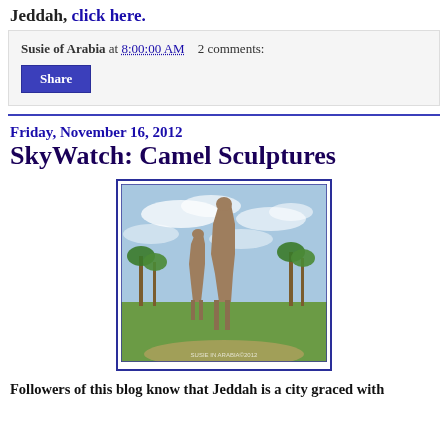Jeddah, click here.
Susie of Arabia at 8:00:00 AM   2 comments:
Share
Friday, November 16, 2012
SkyWatch: Camel Sculptures
[Figure (photo): Photograph of large camel sculptures in Jeddah, Saudi Arabia, set against a blue sky with clouds and palm trees in the foreground. The sculptures appear to be tall abstract metal camels on legs.]
Followers of this blog know that Jeddah is a city graced with